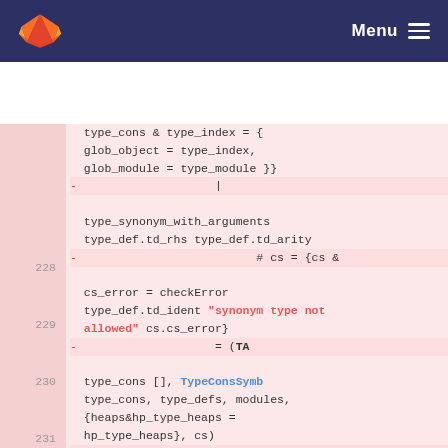Menu
[Figure (screenshot): GitLab code diff view showing lines 228-231 of OCaml source code with removed lines highlighted in pink. Lines show type_cons, type_synonym_with_arguments, type_def fields, cs_error, TypeConsSymb, heaps&hp_type_heaps references.]